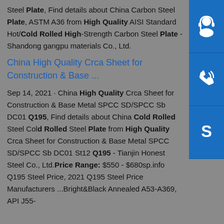Steel Plate, Find details about China Carbon Steel Plate, ASTM A36 from High Quality AISI Standard Hot/Cold Rolled High-Strength Carbon Steel Plate - Shandong gangpu materials Co., Ltd.
China High Quality Crca Sheet for Construction & Base ...
Sep 14, 2021 · China High Quality Crca Sheet for Construction & Base Metal SPCC SD/SPCC Sb DC01 Q195, Find details about China Cold Rolled Steel Cold Rolled Steel Plate from High Quality Crca Sheet for Construction & Base Metal SPCC SD/SPCC Sb DC01 St12 Q195 - Tianjin Honest Steel Co., Ltd.Price Range: $550 - $680sp.info Q195 Steel Price, 2021 Q195 Steel Price Manufacturers ...Bright&Black Annealed A53-A369, API J55-
[Figure (illustration): Three blue sidebar icons: headset/customer service icon, phone icon, and Skype icon]